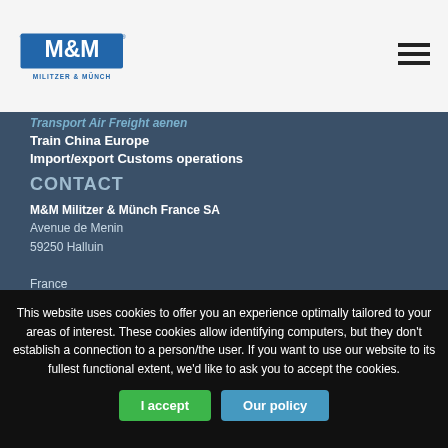[Figure (logo): M&M Militzer & Münch logo with blue text and registered trademark symbol]
[Figure (other): Hamburger menu icon (three horizontal lines)]
Transport Air Freight aenen
Train China Europe
Import/export Customs operations
CONTACT
M&M Militzer & Münch France SA
Avenue de Menin
59250 Halluin
France
Tel.: +33 (0)3 20 25 75 00
Fax: +33 (0)3 20 23 86 77
contact@mumnct.com
This website uses cookies to offer you an experience optimally tailored to your areas of interest. These cookies allow identifying computers, but they don't establish a connection to a person/the user. If you want to use our website to its fullest functional extent, we'd like to ask you to accept the cookies.
I accept
Our policy